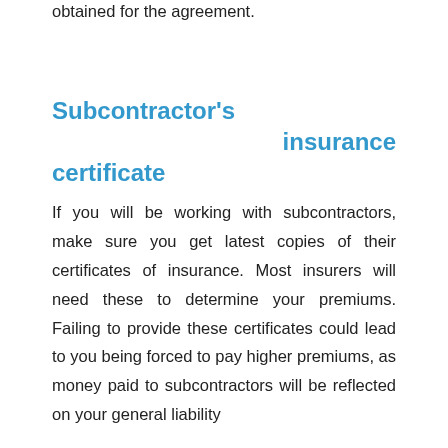obtained for the agreement.
Subcontractor's insurance certificate
If you will be working with subcontractors, make sure you get latest copies of their certificates of insurance. Most insurers will need these to determine your premiums. Failing to provide these certificates could lead to you being forced to pay higher premiums, as money paid to subcontractors will be reflected on your general liability